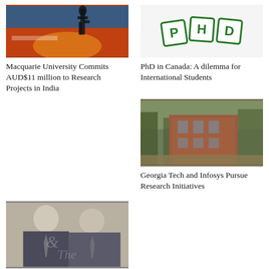[Figure (photo): Macquarie University building exterior with red wall and sculpture at night]
Macquarie University Commits AUD$11 million to Research Projects in India
[Figure (illustration): PHD letter blocks logo in green]
PhD in Canada: A dilemma for International Students
[Figure (photo): Brick university building with trees in background]
Georgia Tech and Infosys Pursue Research Initiatives
[Figure (photo): Two men in suits at an event with QS The logo watermark]
Finding The Right Problem To Pursue at